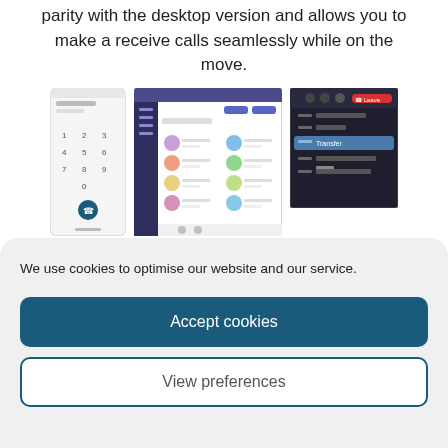parity with the desktop version and allows you to make a receive calls seamlessly while on the move.
[Figure (screenshot): Three screenshots showing Microsoft Teams mobile and desktop interfaces: a phone dialer screen, a Teams contacts/meeting browser window, and a Teams call control dropdown menu.]
Mobile app – is there a separate Teams PBX app or is it built into the normal app?
We use cookies to optimise our website and our service.
Accept cookies
View preferences